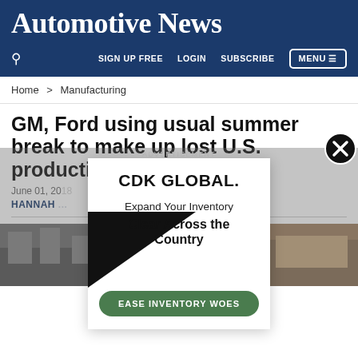Automotive News
SIGN UP FREE  LOGIN  SUBSCRIBE  MENU
Home > Manufacturing
GM, Ford using usual summer break to make up lost U.S. production
June 01, 20...
HANNAH ...
[Figure (screenshot): CDK GLOBAL advertisement popup with text 'Expand Your Inventory Clear Across the Country' and a green CTA button 'EASE INVENTORY WOES'. A black triangle graphic is in the lower left of the ad. A close button (circled X) appears in the upper right of the ad overlay. A gray overlay covers the article behind the popup.]
[Figure (photo): Partial automotive manufacturing plant photo visible at bottom left and right sides of the page behind the advertisement overlay.]